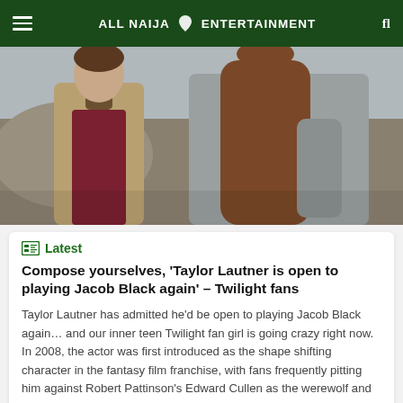ALL NAIJA ENTERTAINMENT
[Figure (photo): Two people standing close together outdoors, one wearing a tan jacket over a dark red shirt, the other in a grey sweater with long hair.]
Latest
Compose yourselves, 'Taylor Lautner is open to playing Jacob Black again' – Twilight fans
Taylor Lautner has admitted he'd be open to playing Jacob Black again… and our inner teen Twilight fan girl is going crazy right now. In 2008, the actor was first introduced as the shape shifting character in the fantasy film franchise, with fans frequently pitting him against Robert Pattinson's Edward Cullen as the werewolf and vampire battled it [...]